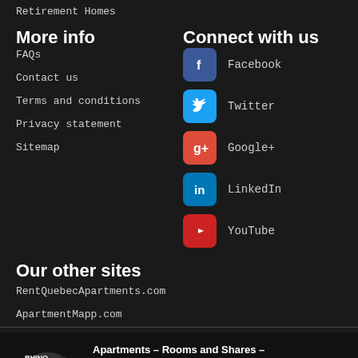Retirement Homes
More info
FAQs
Contact us
Terms and conditions
Privacy statement
Sitemap
Connect with us
Facebook
Twitter
Google+
LinkedIn
YouTube
Our other sites
RentQuebecApartments.com
ApartmentMapp.com
Apartments – Rooms and Shares – Commercial Space – Retirement Homes